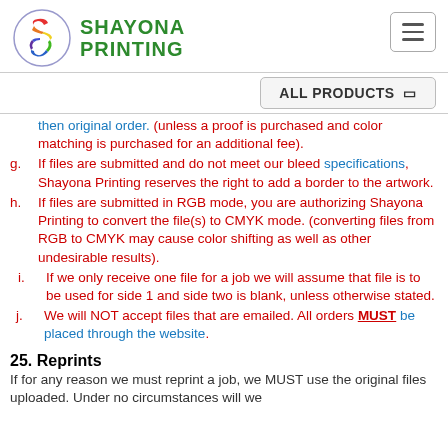[Figure (logo): Shayona Printing logo with colorful S icon in circle and green text]
ALL PRODUCTS
then original order. (unless a proof is purchased and color matching is purchased for an additional fee).
g. If files are submitted and do not meet our bleed specifications, Shayona Printing reserves the right to add a border to the artwork.
h. If files are submitted in RGB mode, you are authorizing Shayona Printing to convert the file(s) to CMYK mode. (converting files from RGB to CMYK may cause color shifting as well as other undesirable results).
i. If we only receive one file for a job we will assume that file is to be used for side 1 and side two is blank, unless otherwise stated.
j. We will NOT accept files that are emailed. All orders MUST be placed through the website.
25. Reprints
If for any reason we must reprint a job, we MUST use the original files uploaded. Under no circumstances will we